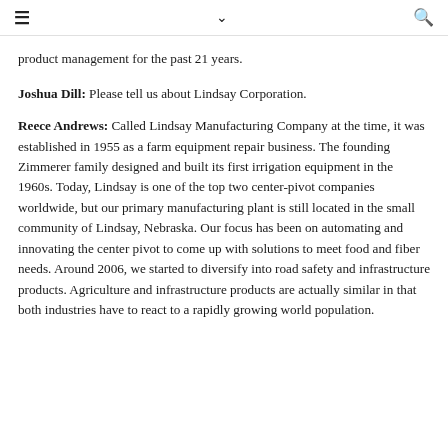≡  ∨  🔍
product management for the past 21 years.
Joshua Dill: Please tell us about Lindsay Corporation.
Reece Andrews: Called Lindsay Manufacturing Company at the time, it was established in 1955 as a farm equipment repair business. The founding Zimmerer family designed and built its first irrigation equipment in the 1960s. Today, Lindsay is one of the top two center-pivot companies worldwide, but our primary manufacturing plant is still located in the small community of Lindsay, Nebraska. Our focus has been on automating and innovating the center pivot to come up with solutions to meet food and fiber needs. Around 2006, we started to diversify into road safety and infrastructure products. Agriculture and infrastructure products are actually similar in that both industries have to react to a rapidly growing world population.